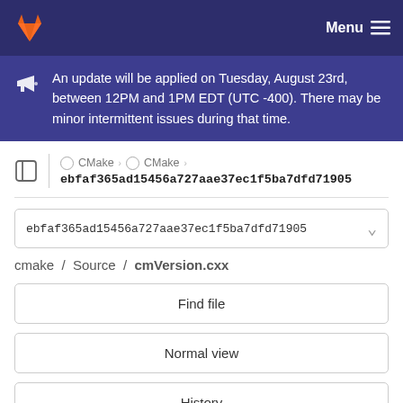GitLab — Menu
An update will be applied on Tuesday, August 23rd, between 12PM and 1PM EDT (UTC -400). There may be minor intermittent issues during that time.
CMake › CMake › ebfaf365ad15456a727aae37ec1f5ba7dfd71905
ebfaf365ad15456a727aae37ec1f5ba7dfd71905
cmake / Source / cmVersion.cxx
Find file
Normal view
History
Permalink